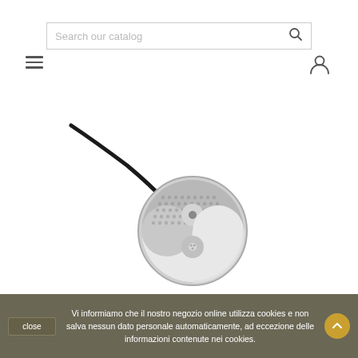[Figure (screenshot): Search bar with placeholder text 'Search our catalog' and a search icon on the right]
[Figure (screenshot): Navigation hamburger menu icon (three horizontal lines) on the left and user account icon on the right]
[Figure (photo): A silver yin-yang pendant necklace with textured dot pattern on black cord, photographed on white background]
Vi informiamo che il nostro negozio online utilizza cookies e non salva nessun dato personale automaticamente, ad eccezione delle informazioni contenute nei cookies.
close